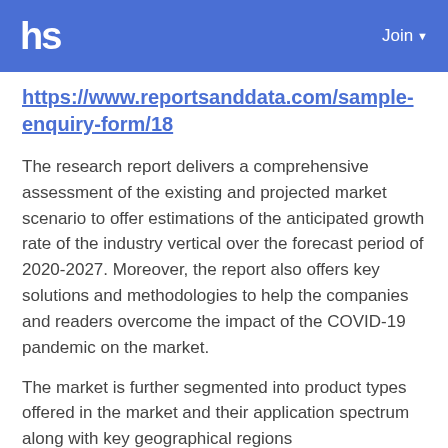hs   Join
https://www.reportsanddata.com/sample-enquiry-form/18
The research report delivers a comprehensive assessment of the existing and projected market scenario to offer estimations of the anticipated growth rate of the industry vertical over the forecast period of 2020-2027. Moreover, the report also offers key solutions and methodologies to help the companies and readers overcome the impact of the COVID-19 pandemic on the market.
The market is further segmented into product types offered in the market and their application spectrum along with key geographical regions